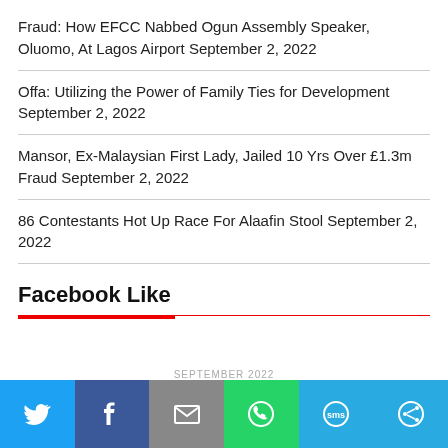Fraud: How EFCC Nabbed Ogun Assembly Speaker, Oluomo, At Lagos Airport September 2, 2022
Offa: Utilizing the Power of Family Ties for Development September 2, 2022
Mansor, Ex-Malaysian First Lady, Jailed 10 Yrs Over £1.3m Fraud September 2, 2022
86 Contestants Hot Up Race For Alaafin Stool September 2, 2022
Facebook Like
SEPTEMBER 2022